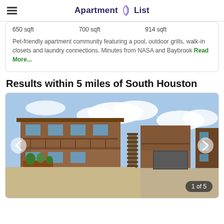Apartment List
650 sqft   700 sqft   914 sqft
Pet-friendly apartment community featuring a pool, outdoor grills, walk-in closets and laundry connections. Minutes from NASA and Baybrook Read More...
Results within 5 miles of South Houston
[Figure (photo): Exterior photo of a two-story brick apartment building with balconies and a gravel courtyard, shown 1 of 5]